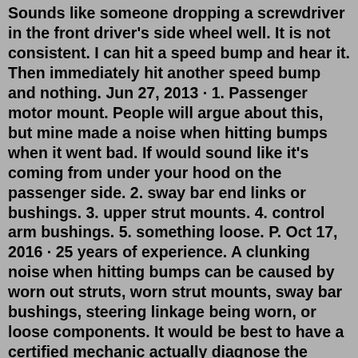Sounds like someone dropping a screwdriver in the front driver's side wheel well. It is not consistent. I can hit a speed bump and hear it. Then immediately hit another speed bump and nothing. Jun 27, 2013 · 1. Passenger motor mount. People will argue about this, but mine made a noise when hitting bumps when it went bad. If would sound like it's coming from under your hood on the passenger side. 2. sway bar end links or bushings. 3. upper strut mounts. 4. control arm bushings. 5. something loose. P. Oct 17, 2016 · 25 years of experience. A clunking noise when hitting bumps can be caused by worn out struts, worn strut mounts, sway bar bushings, steering linkage being worn, or loose components. It would be best to have a certified mechanic actually diagnose the noise. These noises can be notoriously hard to find, even for a seasoned veteran mechanic. Jul 18, 2022 · More times than not, replacing these bushings fixes the typical "front end clunk" problem eventually found on almost all 1999-2004 Super Duty trucks The van is at